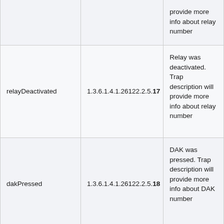| Trap Name | OID | Description |
| --- | --- | --- |
|  |  | provide more info about relay number |
| relayDeactivated | 1.3.6.1.4.1.26122.2.5.17 | Relay was deactivated. Trap description will provide more info about relay number |
| dakPressed | 1.3.6.1.4.1.26122.2.5.18 | DAK was pressed. Trap description will provide more info about DAK number |
|  |  | DAK was released. Trap |